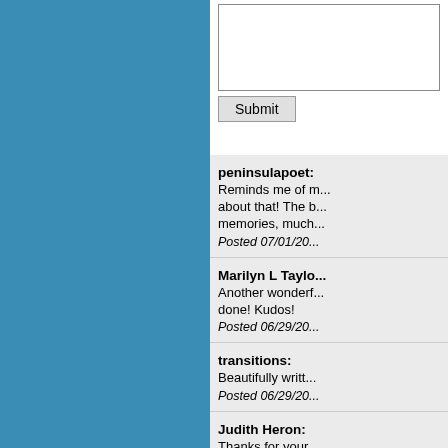[Figure (screenshot): Text input box (partially visible) for comment submission]
Submit
peninsulapoet: Reminds me of m... about that! The b... memories, much... Posted 07/01/20...
Marilyn L Taylo... Another wonderf... done! Kudos! Posted 06/29/20...
transitions: Beautifully writt... Posted 06/29/20...
Judith Heron: Thanks for your 'opener' the poem hardball' and the stretching fresh a...